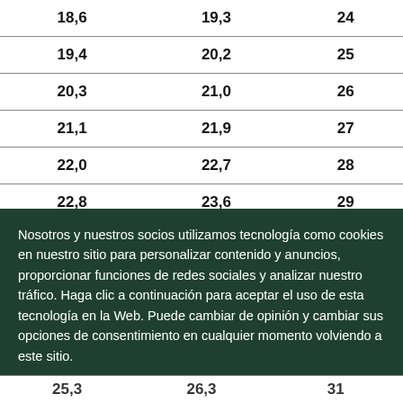| Col1 | Col2 | Col3 |
| --- | --- | --- |
| 18,6 | 19,3 | 24 |
| 19,4 | 20,2 | 25 |
| 20,3 | 21,0 | 26 |
| 21,1 | 21,9 | 27 |
| 22,0 | 22,7 | 28 |
| 22,8 | 23,6 | 29 |
| 23,7 | 24,4 | 30 |
| 25,3 | 26,3 | 31 |
Nosotros y nuestros socios utilizamos tecnología como cookies en nuestro sitio para personalizar contenido y anuncios, proporcionar funciones de redes sociales y analizar nuestro tráfico. Haga clic a continuación para aceptar el uso de esta tecnología en la Web. Puede cambiar de opinión y cambiar sus opciones de consentimiento en cualquier momento volviendo a este sitio.